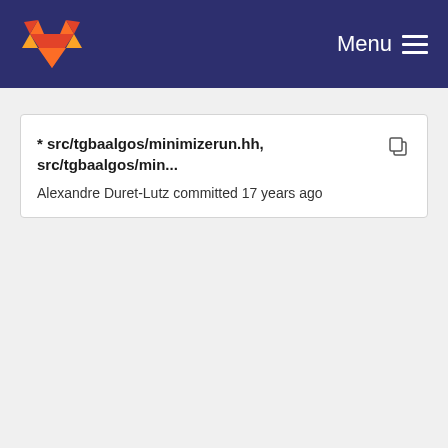GitLab — Menu
* src/tgbaalgos/minimizerun.hh, src/tgbaalgos/min...
Alexandre Duret-Lutz committed 17 years ago